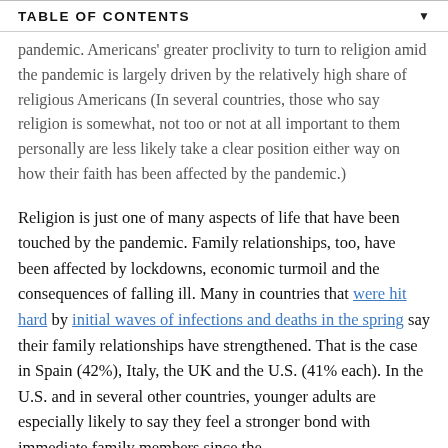TABLE OF CONTENTS
pandemic. Americans' greater proclivity to turn to religion amid the pandemic is largely driven by the relatively high share of religious Americans (In several countries, those who say religion is somewhat, not too or not at all important to them personally are less likely take a clear position either way on how their faith has been affected by the pandemic.)
Religion is just one of many aspects of life that have been touched by the pandemic. Family relationships, too, have been affected by lockdowns, economic turmoil and the consequences of falling ill. Many in countries that were hit hard by initial waves of infections and deaths in the spring say their family relationships have strengthened. That is the case in Spain (42%), Italy, the UK and the U.S. (41% each). In the U.S. and in several other countries, younger adults are especially likely to say they feel a stronger bond with immediate family members since the